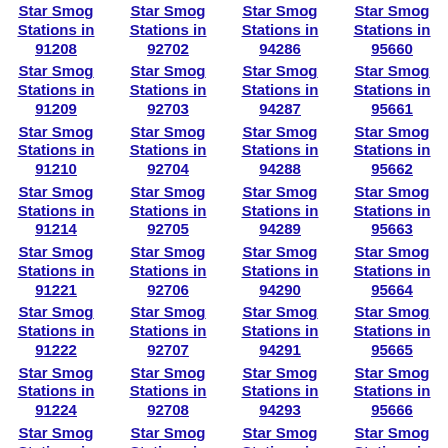Star Smog Stations in 91208
Star Smog Stations in 92702
Star Smog Stations in 94286
Star Smog Stations in 95660
Star Smog Stations in 91209
Star Smog Stations in 92703
Star Smog Stations in 94287
Star Smog Stations in 95661
Star Smog Stations in 91210
Star Smog Stations in 92704
Star Smog Stations in 94288
Star Smog Stations in 95662
Star Smog Stations in 91214
Star Smog Stations in 92705
Star Smog Stations in 94289
Star Smog Stations in 95663
Star Smog Stations in 91221
Star Smog Stations in 92706
Star Smog Stations in 94290
Star Smog Stations in 95664
Star Smog Stations in 91222
Star Smog Stations in 92707
Star Smog Stations in 94291
Star Smog Stations in 95665
Star Smog Stations in 91224
Star Smog Stations in 92708
Star Smog Stations in 94293
Star Smog Stations in 95666
Star Smog Stations in 91225
Star Smog Stations in 92709
Star Smog Stations in 94294
Star Smog Stations in 95667
Star Smog Stations in 91226
Star Smog Stations in 92710
Star Smog Stations in 94295
Star Smog Stations in 95668
Star Smog Stations in 91301
Star Smog Stations in 92711
Star Smog Stations in 94296
Star Smog Stations in 95669
Star Smog Stations in 91302
Star Smog Stations in 92712
Star Smog Stations in 94297
Star Smog Stations in 95670
Star Smog Stations in (partial)
Star Smog Stations in (partial)
Star Smog Stations in (partial)
Star Smog Stations in (partial)